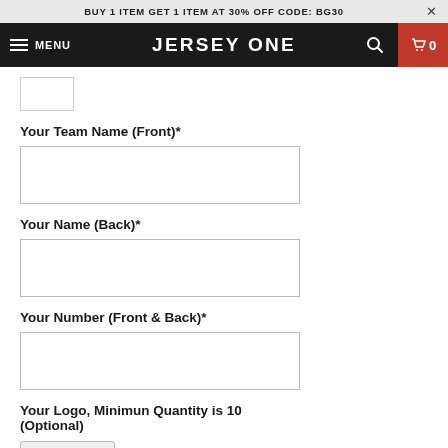BUY 1 ITEM GET 1 ITEM AT 30% OFF CODE: BG30
JERSEY ONE
[Figure (screenshot): Small thumbnail image placeholder]
Your Team Name (Front)*
[Figure (screenshot): Empty text input field for Your Team Name (Front)]
Your Name (Back)*
[Figure (screenshot): Empty text input field for Your Name (Back)]
Your Number (Front & Back)*
[Figure (screenshot): Empty text input field for Your Number (Front & Back)]
Your Logo, Minimun Quantity is 10
(Optional)
Choose File   No file chosen